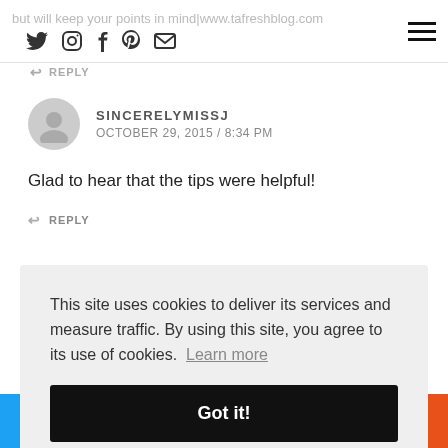but will keep your points in mind|www.tafreshblog.com
↩ REPLY
SINCERELYMISSJ
OCTOBER 29, 2015 / 8:34 PM
Glad to hear that the tips were helpful!
↩ REPLY
[Figure (screenshot): Cookie consent overlay reading: 'This site uses cookies to deliver its services and measure traffic. By using this site, you agree to its use of cookies. Learn more' with a black 'Got it!' button below.]
Twitter, Facebook, Pinterest, Mix, Reddit share buttons